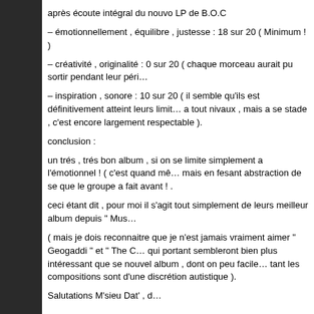après écoute intégral du nouvo LP de B.O.C
– émotionnellement , équilibre , justesse : 18 sur 20 ( Minimum ! )
– créativité , originalité : 0 sur 20 ( chaque morceau aurait pu sortir pendant leur péri…
– inspiration , sonore : 10 sur 20 ( il semble qu'ils est définitivement atteint leurs limit… a tout nivaux , mais a se stade , c'est encore largement respectable ).
conclusion :
un trés , trés bon album , si on se limite simplement a l'émotionnel ! ( c'est quand mê… mais en fesant abstraction de se que le groupe a fait avant ! .
ceci étant dit , pour moi il s'agit tout simplement de leurs meilleur album depuis " Mus…
( mais je dois reconnaitre que je n'est jamais vraiment aimer " Geogaddi " et " The C… qui portant sembleront bien plus intéressant que se nouvel album , dont on peu facile… tant les compositions sont d'une discrétion autistique ).
Salutations M'sieu Dat' , d…
d... Says:
June 7th, 2013 at 2:39 am
info pour les plus jeunes ( au cas ou ? ) :
voici la version original du track " Da Chime 2 U " par Dubb Parade
il s'agit de : ORBITAL – CHIME (12" version) – 1989